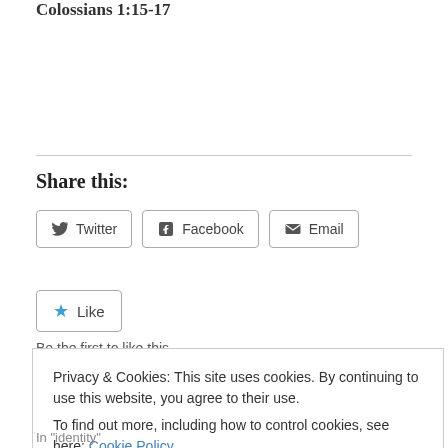Colossians 1:15-17
Share this:
Twitter  Facebook  Email
Like
Be the first to like this.
Privacy & Cookies: This site uses cookies. By continuing to use this website, you agree to their use.
To find out more, including how to control cookies, see here: Cookie Policy
Close and accept
In "identity"